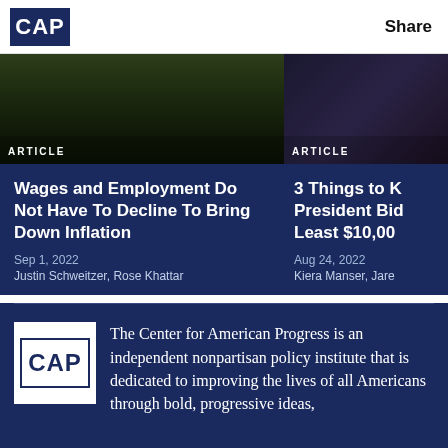CAP | Share
[Figure (photo): Photo of people walking near a government building, dark nighttime scene]
[Figure (photo): Photo of a person with US flag/seal, partially visible]
Wages and Employment Do Not Have To Decline To Bring Down Inflation
3 Things to K... President Bid... Least $10,00...
Sep 1, 2022
Justin Schweitzer, Rose Khattar
Aug 24, 2022
Kiera Manser, Jare...
[Figure (logo): CAP logo white square with dark blue CAP text]
The Center for American Progress is an independent nonpartisan policy institute that is dedicated to improving the lives of all Americans through bold, progressive ideas,